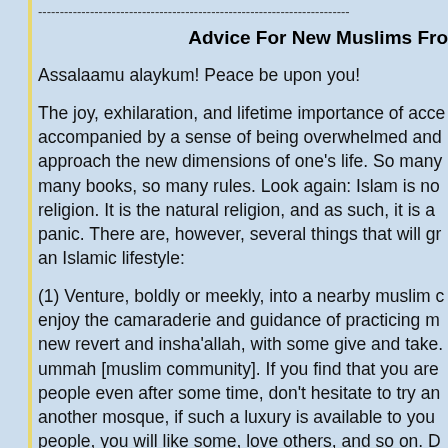------------------------------------------------------------------------
Advice For New Muslims Fro
Assalaamu alaykum! Peace be upon you!
The joy, exhilaration, and lifetime importance of acce accompanied by a sense of being overwhelmed and approach the new dimensions of one's life. So many many books, so many rules. Look again: Islam is no religion. It is the natural religion, and as such, it is a panic. There are, however, several things that will gr an Islamic lifestyle:
(1) Venture, boldly or meekly, into a nearby muslim c enjoy the camaraderie and guidance of practicing m new revert and insha'allah, with some give and take. ummah [muslim community]. If you find that you are people even after some time, don't hesitate to try an another mosque, if such a luxury is available to you people, you will like some, love others, and so on. D don't find a muslim soul mate immediately!